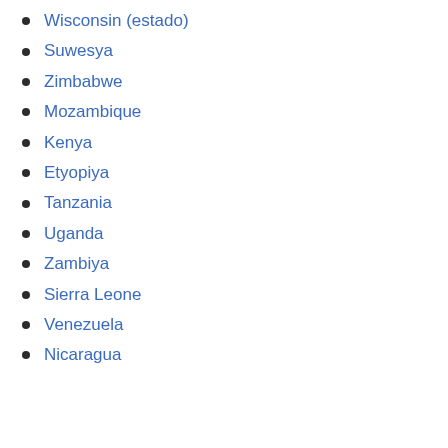Wisconsin (estado)
Suwesya
Zimbabwe
Mozambique
Kenya
Etyopiya
Tanzania
Uganda
Zambiya
Sierra Leone
Venezuela
Nicaragua